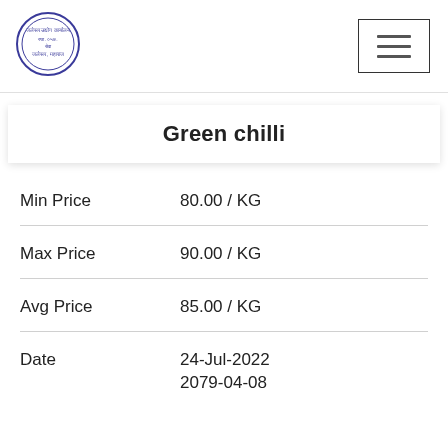[Figure (logo): Circular blue stamp/seal with Devanagari text, government office logo]
Green chilli
| Label | Value |
| --- | --- |
| Min Price | 80.00 / KG |
| Max Price | 90.00 / KG |
| Avg Price | 85.00 / KG |
| Date | 24-Jul-2022
2079-04-08 |